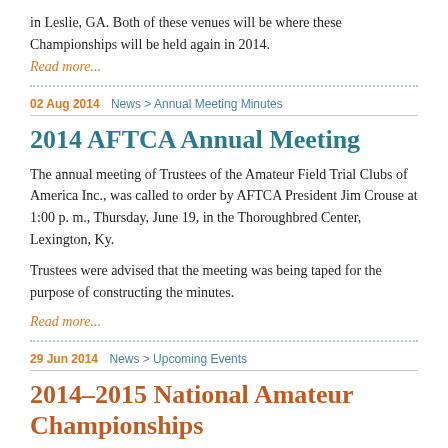in Leslie, GA. Both of these venues will be where these Championships will be held again in 2014.
Read more...
02 Aug 2014   News > Annual Meeting Minutes
2014 AFTCA Annual Meeting
The annual meeting of Trustees of the Amateur Field Trial Clubs of America Inc., was called to order by AFTCA President Jim Crouse at 1:00 p. m., Thursday, June 19, in the Thoroughbred Center, Lexington, Ky.
Trustees were advised that the meeting was being taped for the purpose of constructing the minutes.
Read more...
29 Jun 2014   News > Upcoming Events
2014-2015 National Amateur Championships